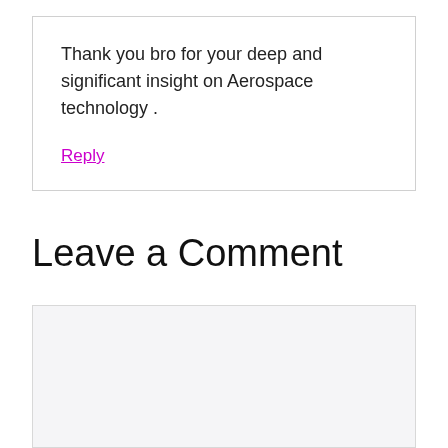Thank you bro for your deep and significant insight on Aerospace technology .
Reply
Leave a Comment